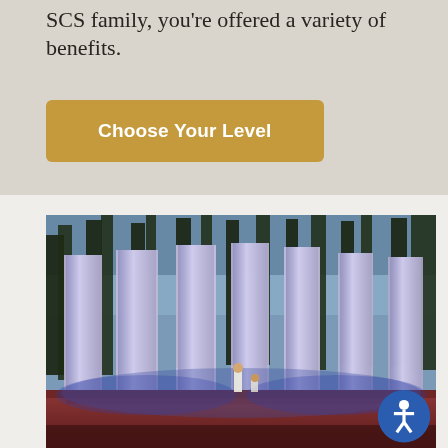SCS family, you're offered a variety of benefits.
[Figure (other): Golden/amber colored button with white bold text reading 'Choose Your Level']
[Figure (photo): Outdoor theater stage at dusk with tall white rectangular pillars/columns lit with purple-blue lighting, tall trees in background, performers on stage in white robes, red-lit stage floor]